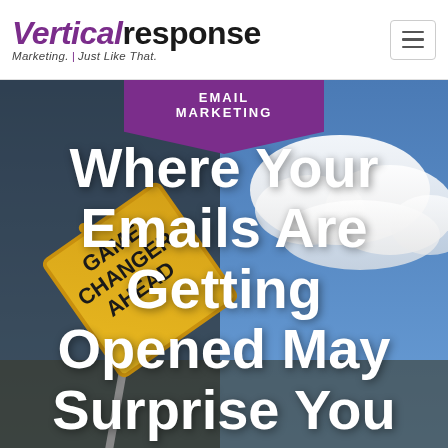VerticalResponse — Marketing. Just Like That.
[Figure (photo): Hero image showing a yellow diamond-shaped road sign reading 'GAME CHANGER AHEAD' against a blue sky with clouds, used as blog post header background]
EMAIL MARKETING
Where Your Emails Are Getting Opened May Surprise You